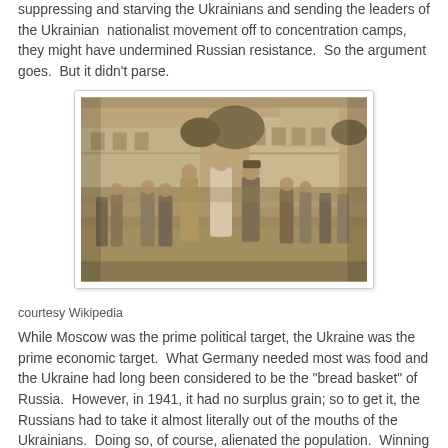suppressing and starving the Ukrainians and sending the leaders of the Ukrainian  nationalist movement off to concentration camps, they might have undermined Russian resistance.  So the argument goes.  But it didn't parse.
[Figure (photo): Sepia-toned historical photograph showing a crowd of people outdoors, including figures in ceremonial robes and military uniforms, with buildings in the background.]
courtesy Wikipedia
While Moscow was the prime political target, the Ukraine was the prime economic target.  What Germany needed most was food and the Ukraine had long been considered to be the "bread basket" of Russia.  However, in 1941, it had no surplus grain; so to get it, the Russians had to take it almost literally out of the mouths of the Ukrainians.  Doing so, of course, alienated the population.  Winning over the Ukrainians was never an option for the Wehrmacht; nor would it have facilitated the conquest of Russia.    Regardless of how the Ukrainians felt about the Communist regime, the Germans were impelled to act in ways that